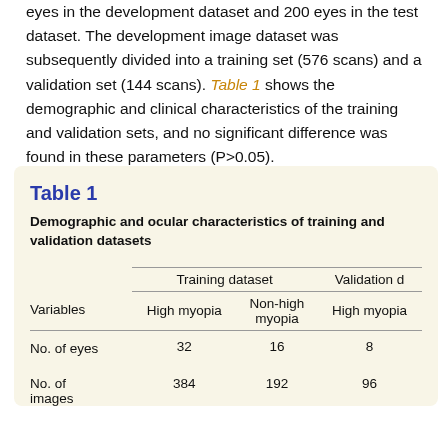eyes in the development dataset and 200 eyes in the test dataset. The development image dataset was subsequently divided into a training set (576 scans) and a validation set (144 scans). Table 1 shows the demographic and clinical characteristics of the training and validation sets, and no significant difference was found in these parameters (P>0.05).
| Variables | Training dataset — High myopia | Training dataset — Non-high myopia | Validation dataset — High myopia |
| --- | --- | --- | --- |
| No. of eyes | 32 | 16 | 8 |
| No. of images | 384 | 192 | 96 |